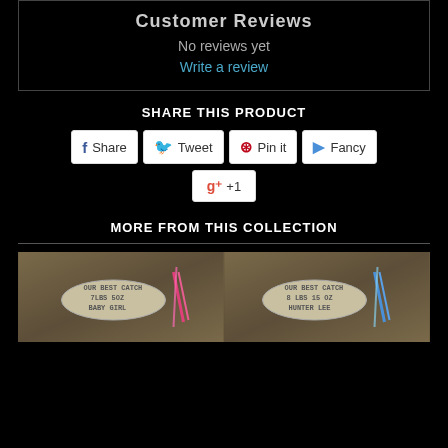Customer Reviews
No reviews yet
Write a review
SHARE THIS PRODUCT
Share  Tweet  Pin it  Fancy  +1
MORE FROM THIS COLLECTION
[Figure (photo): Fishing lure with engraved tag reading OUR BEST CATCH 7LBS 5OZ BABY GIRL with pink feathers]
[Figure (photo): Fishing lure with engraved tag reading OUR BEST CATCH 8 LBS 15 OZ HUNTER LEE with blue feathers]